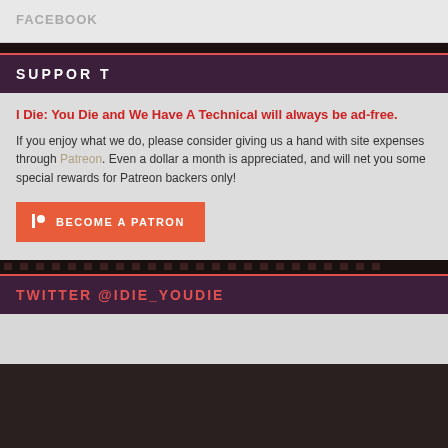FACEBOOK
SUPPORT
I Die: You Die and We Have A Technical will always be ad-free. If you enjoy what we do, please consider giving us a hand with site expenses through Patreon. Even a dollar a month is appreciated, and will net you some special rewards for Patreon backers only!
BECOME A PATRON
TWITTER @IDIE_YOUDIE